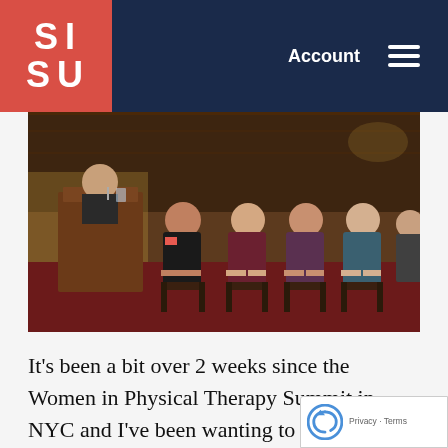SISU — Account
[Figure (photo): Panel discussion at the Women in Physical Therapy Summit in NYC. Four women are seated on chairs on a stage in an ornate wood-paneled room. A lectern with a person standing behind it is visible on the left.]
It's been a bit over 2 weeks since the Women in Physical Therapy Summit in NYC and I've been wanting to write about my experienc…